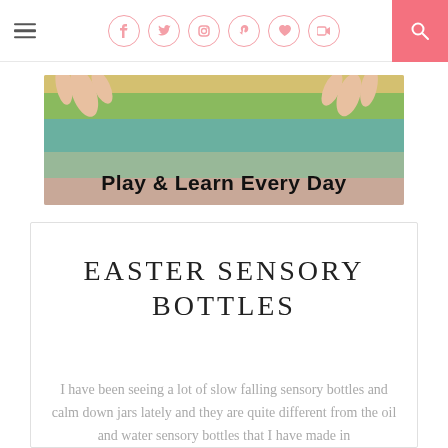Navigation bar with hamburger menu, social icons (Facebook, Twitter, Instagram, Pinterest, Heart, Camera), and search button
[Figure (illustration): Play & Learn Every Day blog banner showing children's hands in colorful sensory sand/rice with rainbow layers. Text reads 'Play & Learn Every Day' in bold black.]
EASTER SENSORY BOTTLES
I have been seeing a lot of slow falling sensory bottles and calm down jars lately and they are quite different from the oil and water sensory bottles that I have made in